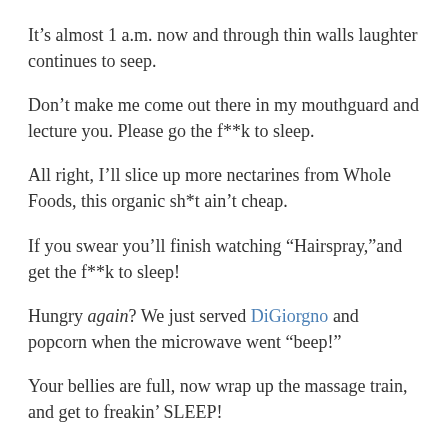It’s almost 1 a.m. now and through thin walls laughter continues to seep.
Don’t make me come out there in my mouthguard and lecture you. Please go the f**k to sleep.
All right, I’ll slice up more nectarines from Whole Foods, this organic sh*t ain’t cheap.
If you swear you’ll finish watching “Hairspray,”and get the f**k to sleep!
Hungry again? We just served DiGiorgno and popcorn when the microwave went “beep!”
Your bellies are full, now wrap up the massage train, and get to freakin’ SLEEP!